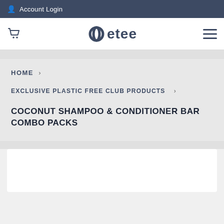Account Login
[Figure (logo): etee brand logo with circular O icon and cart and hamburger menu icons in navigation bar]
HOME  ›
EXCLUSIVE PLASTIC FREE CLUB PRODUCTS  ›
COCONUT SHAMPOO & CONDITIONER BAR COMBO PACKS